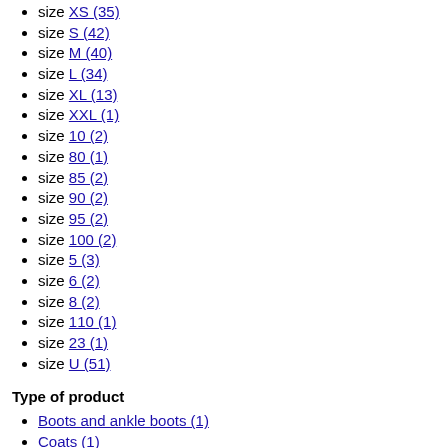size XS (35)
size S (42)
size M (40)
size L (34)
size XL (13)
size XXL (1)
size 10 (2)
size 80 (1)
size 85 (2)
size 90 (2)
size 95 (2)
size 100 (2)
size 5 (3)
size 6 (2)
size 8 (2)
size 110 (1)
size 23 (1)
size U (51)
Type of product
Boots and ankle boots (1)
Coats (1)
Jackets (4)